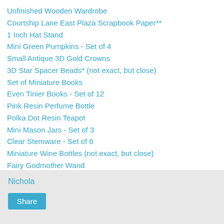Unfinished Wooden Wardrobe
Courtship Lane East Plaza Scrapbook Paper**
1 Inch Hat Stand
Mini Green Pumpkins - Set of 4
Small Antique 3D Gold Crowns
3D Star Spacer Beads* (not exact, but close)
Set of Miniature Books
Even Tinier Books - Set of 12
Pink Resin Perfume Bottle
Polka Dot Resin Teapot
Mini Mason Jars - Set of 3
Clear Stemware - Set of 6
Miniature Wine Bottles (not exact, but close)
Fairy Godmother Wand
Fairy Godmothers Cupboard Collage Sheet
Nichola
Share